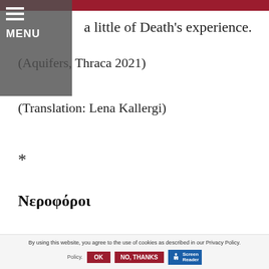a little of Death's experience.
(Aquifers, Thraca 2021)
(Translation: Lena Kallergi)
*
Νεροφόροι
By using this website, you agree to the use of cookies as described in our Privacy Policy.